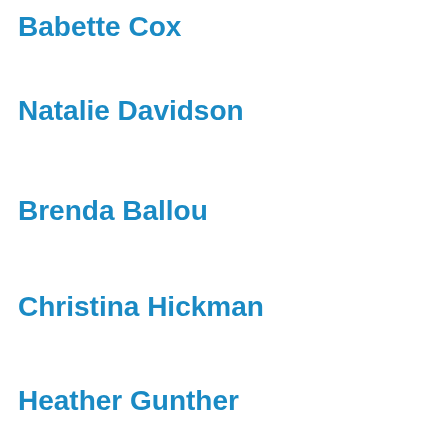Babette Cox
Natalie Davidson
Brenda Ballou
Christina Hickman
Heather Gunther